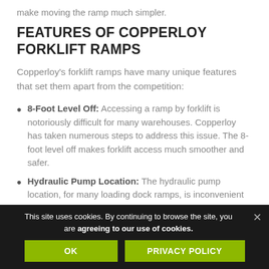make moving the ramp much simpler.
FEATURES OF COPPERLOY FORKLIFT RAMPS
Copperloy's forklift ramps have many unique features that set them apart from the competition:
8-Foot Level Off: Accessing a ramp by forklift is notoriously difficult for many warehouses. Copperloy has taken numerous steps to address this issue. The 8-foot level off makes forklift access much smoother and safer.
Hydraulic Pump Location: The hydraulic pump location, for many loading dock ramps, is inconvenient for those operating it. Copperloy has addressed this
This site uses cookies. By continuing to browse the site, you are agreeing to our use of cookies.